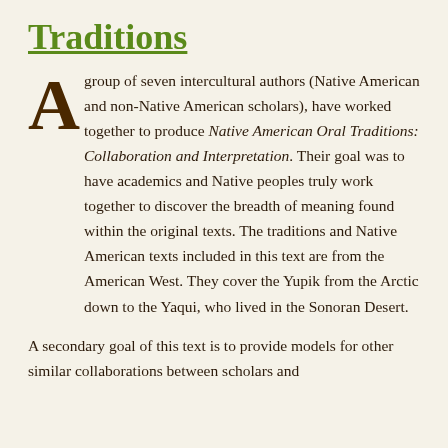Traditions
A group of seven intercultural authors (Native American and non-Native American scholars), have worked together to produce Native American Oral Traditions: Collaboration and Interpretation. Their goal was to have academics and Native peoples truly work together to discover the breadth of meaning found within the original texts. The traditions and Native American texts included in this text are from the American West. They cover the Yupik from the Arctic down to the Yaqui, who lived in the Sonoran Desert.
A secondary goal of this text is to provide models for other similar collaborations between scholars and